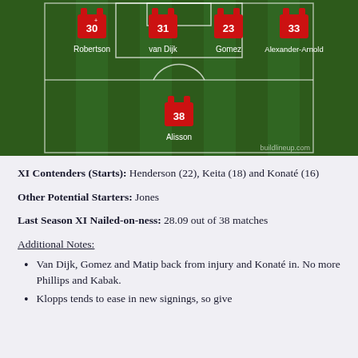[Figure (illustration): Football pitch lineup diagram showing Liverpool formation with players: Robertson (30), van Dijk (31), Gomez (23), Alexander-Arnold (33) in defence, and Alisson (38) as goalkeeper. Green pitch with white lines and red jerseys. buildlineup.com watermark.]
XI Contenders (Starts): Henderson (22), Keita (18) and Konaté (16)
Other Potential Starters: Jones
Last Season XI Nailed-on-ness: 28.09 out of 38 matches
Additional Notes:
Van Dijk, Gomez and Matip back from injury and Konaté in. No more Phillips and Kabak.
Klopps tends to ease in new signings, so give